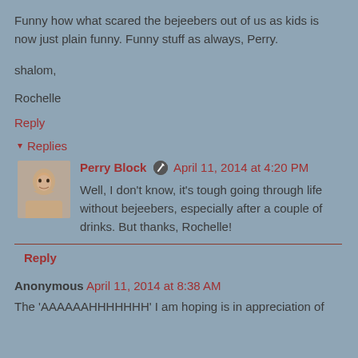Funny how what scared the bejeebers out of us as kids is now just plain funny. Funny stuff as always, Perry.
shalom,
Rochelle
Reply
▾ Replies
Perry Block ✏ April 11, 2014 at 4:20 PM
Well, I don't know, it's tough going through life without bejeebers, especially after a couple of drinks. But thanks, Rochelle!
Reply
Anonymous April 11, 2014 at 8:38 AM
The 'AAAAAAHHHHHHH' I am hoping is in appreciation of